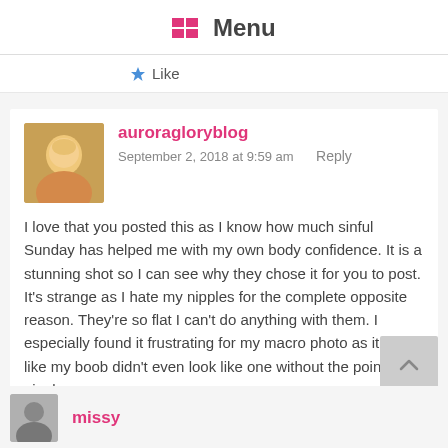Menu
Like
auroragloryblog
September 2, 2018 at 9:59 am    Reply

I love that you posted this as I know how much sinful Sunday has helped me with my own body confidence. It is a stunning shot so I can see why they chose it for you to post. It's strange as I hate my nipples for the complete opposite reason. They're so flat I can't do anything with them. I especially found it frustrating for my macro photo as it felt like my boob didn't even look like one without the pointed nipple.
Aurora x
Like
missy